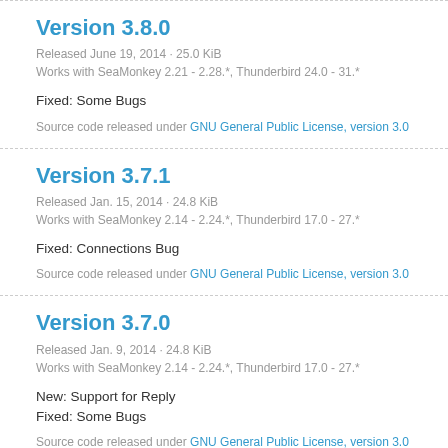Version 3.8.0
Released June 19, 2014  ·  25.0 KiB
Works with SeaMonkey 2.21 - 2.28.*, Thunderbird 24.0 - 31.*
Fixed: Some Bugs
Source code released under GNU General Public License, version 3.0
Version 3.7.1
Released Jan. 15, 2014  ·  24.8 KiB
Works with SeaMonkey 2.14 - 2.24.*, Thunderbird 17.0 - 27.*
Fixed: Connections Bug
Source code released under GNU General Public License, version 3.0
Version 3.7.0
Released Jan. 9, 2014  ·  24.8 KiB
Works with SeaMonkey 2.14 - 2.24.*, Thunderbird 17.0 - 27.*
New: Support for Reply
Fixed: Some Bugs
Source code released under GNU General Public License, version 3.0